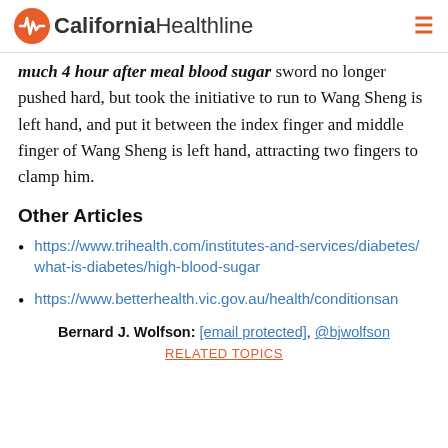California Healthline
much 4 hour after meal blood sugar sword no longer pushed hard, but took the initiative to run to Wang Sheng is left hand, and put it between the index finger and middle finger of Wang Sheng is left hand, attracting two fingers to clamp him.
Other Articles
https://www.trihealth.com/institutes-and-services/diabetes/what-is-diabetes/high-blood-sugar
https://www.betterhealth.vic.gov.au/health/conditionsan
Bernard J. Wolfson: [email protected], @bjwolfson
RELATED TOPICS